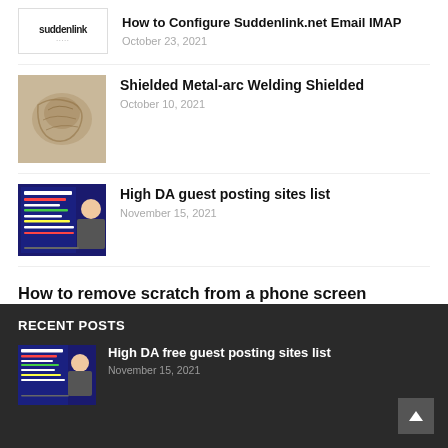[Figure (logo): Suddenlink logo]
How to Configure Suddenlink.net Email IMAP
October 23, 2021
[Figure (photo): Shielded metal-arc welding image]
Shielded Metal-arc Welding Shielded
October 10, 2021
[Figure (photo): Guest post on quality websites promotional image]
High DA guest posting sites list
November 15, 2021
How to remove scratch from a phone screen
January 13, 2022
RECENT POSTS
[Figure (photo): Guest post promotional image thumbnail]
High DA free guest posting sites list
November 15, 2021